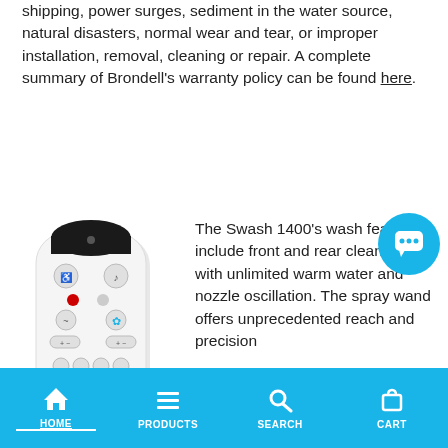shipping, power surges, sediment in the water source, natural disasters, normal wear and tear, or improper installation, removal, cleaning or repair. A complete summary of Brondell's warranty policy can be found here.
[Figure (photo): Brondell Swash 1400 bidet remote control, white with multiple buttons]
The Swash 1400's wash features include front and rear cleansing with unlimited warm water and nozzle oscillation. The spray wand offers unprecedented reach and precision
HOME  PRODUCTS  SEARCH  CART